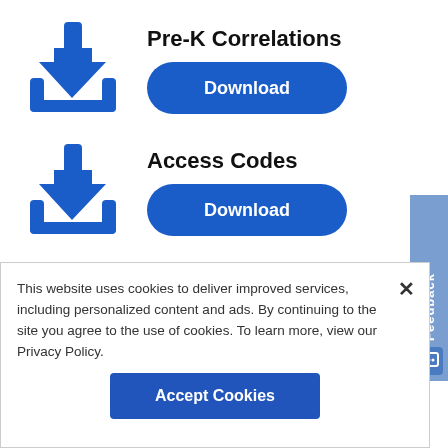Pre-K Correlations
[Figure (illustration): Blue download arrow icon for Pre-K Correlations]
Download
Access Codes
[Figure (illustration): Blue download arrow icon for Access Codes]
Download
Feedback
This website uses cookies to deliver improved services, including personalized content and ads. By continuing to the site you agree to the use of cookies. To learn more, view our Privacy Policy.
Accept Cookies